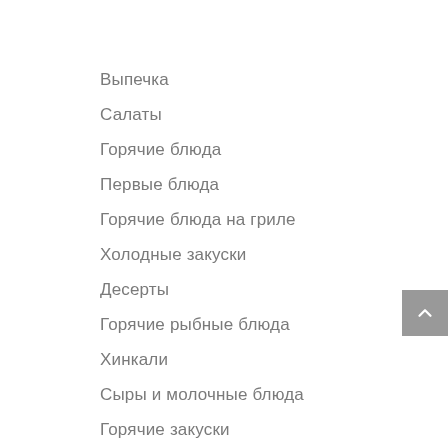Выпечка
Салаты
Горячие блюда
Первые блюда
Горячие блюда на гриле
Холодные закуски
Десерты
Горячие рыбные блюда
Хинкали
Сыры и молочные блюда
Горячие закуски
Соусы